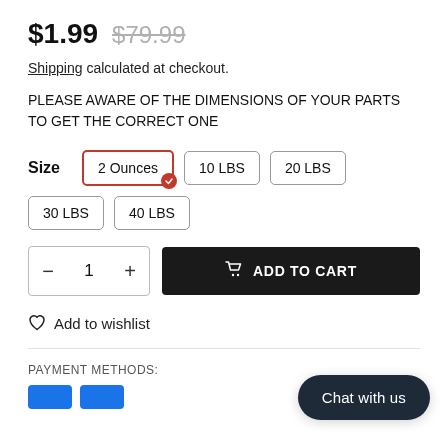$1.99  $79.99
Shipping calculated at checkout.
PLEASE AWARE OF THE DIMENSIONS OF YOUR PARTS TO GET THE CORRECT ONE
Size  2 Ounces  10 LBS  20 LBS  30 LBS  40 LBS
− 1 +  ADD TO CART
Add to wishlist
PAYMENT METHODS:
Chat with us